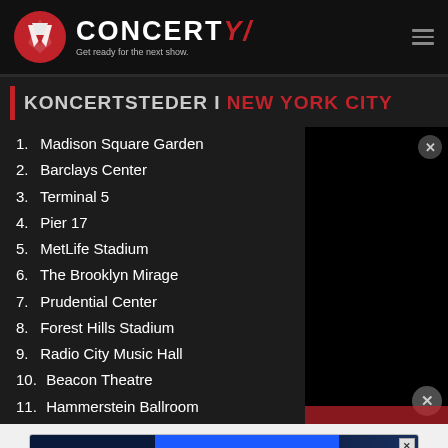[Figure (logo): Concerty logo with red circle icon and tagline 'Get ready for the next show.']
KONCERTSTEDER I NEW YORK CITY
1. Madison Square Garden
2. Barclays Center
3. Terminal 5
4. Pier 17
5. MetLife Stadium
6. The Brooklyn Mirage
7. Prudential Center
8. Forest Hills Stadium
9. Radio City Music Hall
10. Beacon Theatre
11. Hammerstein Ballroom
[Figure (screenshot): Disney Bundle advertisement banner: hulu, Disney+, ESPN+, GET THE DISNEY BUNDLE. Incl. Hulu (ad-supported) or Hulu (No Ads). Access content from each service separately. ©2021 Disney and its related entities.]